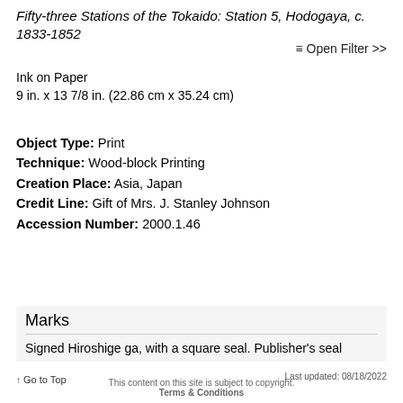Fifty-three Stations of the Tokaido: Station 5, Hodogaya, c. 1833-1852
Ink on Paper
9 in. x 13 7/8 in. (22.86 cm x 35.24 cm)
≡ Open Filter >>
Object Type: Print
Technique: Wood-block Printing
Creation Place: Asia, Japan
Credit Line: Gift of Mrs. J. Stanley Johnson
Accession Number: 2000.1.46
Marks
Signed Hiroshige ga, with a square seal. Publisher's seal
↑ Go to Top   This content on this site is subject to copyright.   Last updated: 08/18/2022   Terms & Conditions